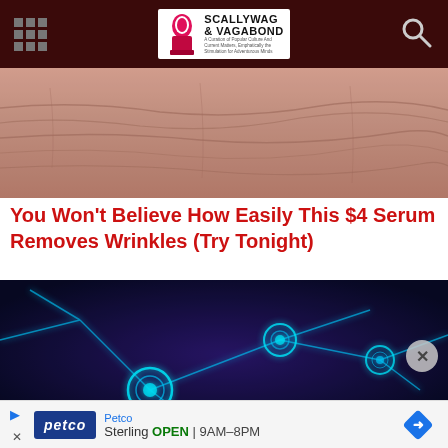Scallywag & Vagabond
[Figure (photo): Close-up of wrinkled elderly skin, pinkish tones, showing deep wrinkles and folds]
You Won't Believe How Easily This $4 Serum Removes Wrinkles (Try Tonight)
[Figure (photo): Digital illustration of glowing blue neural network / neurons on dark purple background]
Petco — Sterling OPEN 9AM–8PM